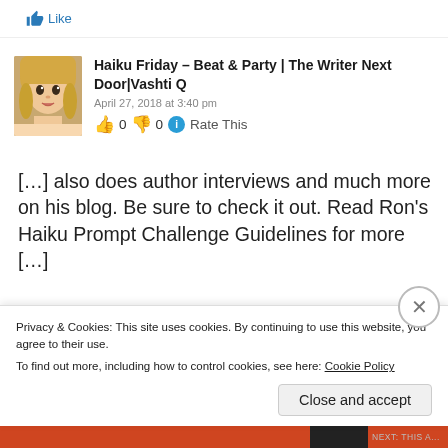[Figure (other): Like button with thumbs up icon and text 'Like']
[Figure (photo): Avatar photo of a young blonde woman]
Haiku Friday – Beat & Party | The Writer Next Door|Vashti Q
April 27, 2018 at 3:40 pm
👍 0 👎 0 ℹ Rate This
[…] also does author interviews and much more on his blog. Be sure to check it out. Read Ron's Haiku Prompt Challenge Guidelines for more […]
Privacy & Cookies: This site uses cookies. By continuing to use this website, you agree to their use.
To find out more, including how to control cookies, see here: Cookie Policy
Close and accept